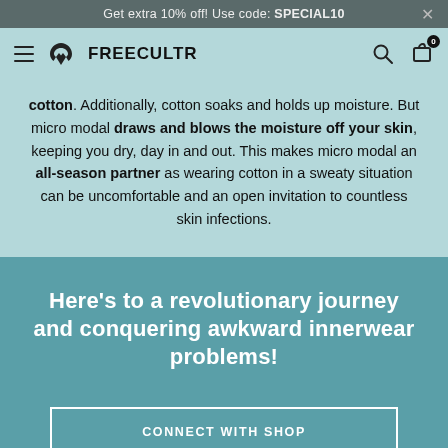Get extra 10% off! Use code: SPECIAL10
[Figure (logo): FREECULTR logo with navigation bar (hamburger menu, logo, search icon, cart icon with badge 0)]
cotton. Additionally, cotton soaks and holds up moisture. But micro modal draws and blows the moisture off your skin, keeping you dry, day in and out. This makes micro modal an all-season partner as wearing cotton in a sweaty situation can be uncomfortable and an open invitation to countless skin infections.
Here's to a revolutionary journey and conquering awkward innerwear problems!
CONNECT WITH SHOP